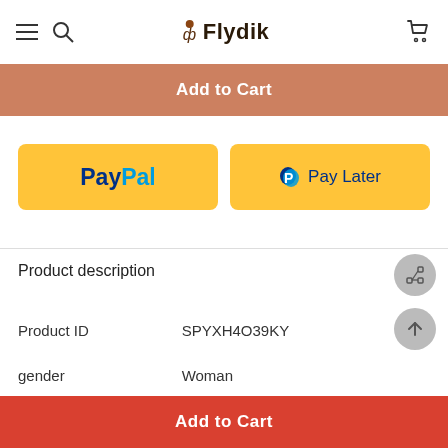Flydik
[Figure (screenshot): Add to Cart salmon-colored button]
[Figure (screenshot): PayPal payment buttons: PayPal and Pay Later, both yellow]
Product description
| Field | Value |
| --- | --- |
| Product ID | SPYXH4O39KY |
| gender | Woman |
| season | summer |
[Figure (screenshot): Add to Cart red button at bottom]